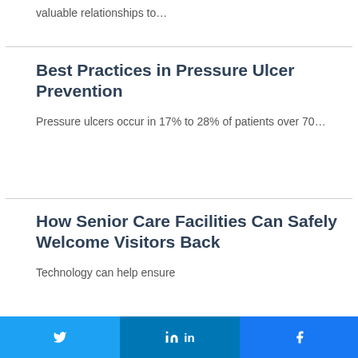valuable relationships to…
Best Practices in Pressure Ulcer Prevention
Pressure ulcers occur in 17% to 28% of patients over 70…
How Senior Care Facilities Can Safely Welcome Visitors Back
Technology can help ensure
Twitter Share | LinkedIn Share | Facebook Share | 0 SHARES